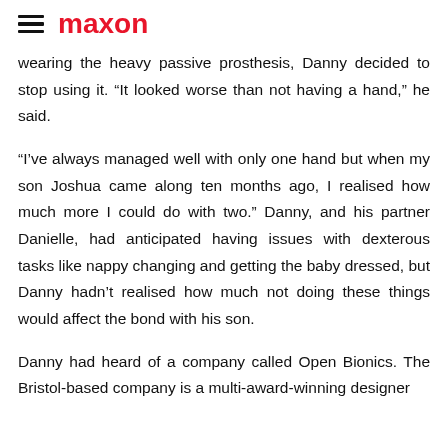maxon
wearing the heavy passive prosthesis, Danny decided to stop using it. “It looked worse than not having a hand,” he said.
“I’ve always managed well with only one hand but when my son Joshua came along ten months ago, I realised how much more I could do with two.” Danny, and his partner Danielle, had anticipated having issues with dexterous tasks like nappy changing and getting the baby dressed, but Danny hadn’t realised how much not doing these things would affect the bond with his son.
Danny had heard of a company called Open Bionics. The Bristol-based company is a multi-award-winning designer